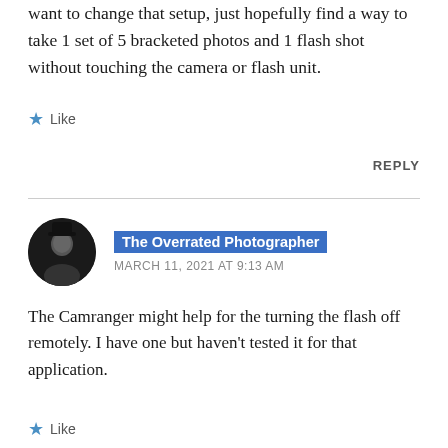want to change that setup, just hopefully find a way to take 1 set of 5 bracketed photos and 1 flash shot without touching the camera or flash unit.
★ Like
REPLY
The Overrated Photographer
MARCH 11, 2021 AT 9:13 AM
The Camranger might help for the turning the flash off remotely. I have one but haven't tested it for that application.
★ Like